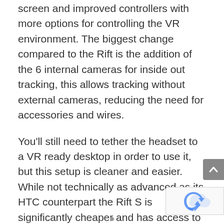screen and improved controllers with more options for controlling the VR environment. The biggest change compared to the Rift is the addition of the 6 internal cameras for inside out tracking, this allows tracking without external cameras, reducing the need for accessories and wires.
You'll still need to tether the headset to a VR ready desktop in order to use it, but this setup is cleaner and easier. While not technically as advanced as its HTC counterpart the Rift S is significantly cheaper and has access to more games and experiences.
PROS: